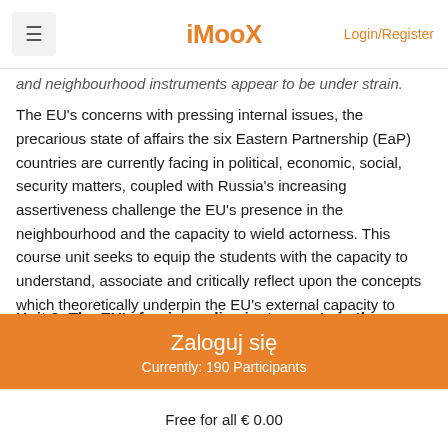iMooX  Login/Register
and neighbourhood instruments appear to be under strain. The EU's concerns with pressing internal issues, the precarious state of affairs the six Eastern Partnership (EaP) countries are currently facing in political, economic, social, security matters, coupled with Russia's increasing assertiveness challenge the EU's presence in the neighbourhood and the capacity to wield actorness. This course unit seeks to equip the students with the capacity to understand, associate and critically reflect upon the concepts which theoretically underpin the EU's external capacity to influence the present international context (in other words, to exercise actorness) and to diffuse its unique normative frameworks as prerequisites for prosperity, peace and stability both regionally and worldwide.
Unit 2: The EU's foreign policy instruments in the eastern neighbourhood: ENP & EaP
Zaloguj się
Currently: 190 Participants
Free for all € 0.00